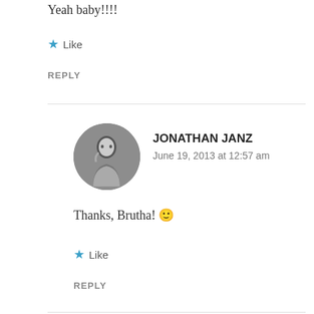Yeah baby!!!!
★ Like
REPLY
JONATHAN JANZ
June 19, 2013 at 12:57 am
Thanks, Brutha! 🙂
★ Like
REPLY
Leave a Reply